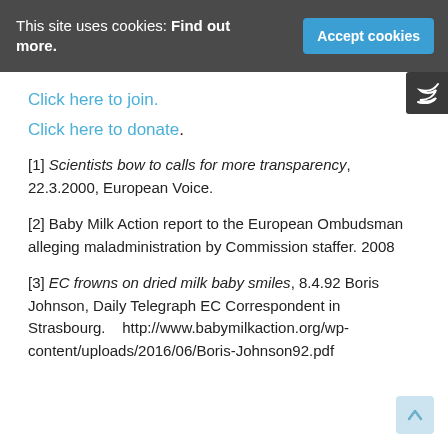This site uses cookies: Find out more. Accept cookies
Click here to join.
Click here to donate.
[1] Scientists bow to calls for more transparency, 22.3.2000, European Voice.
[2] Baby Milk Action report to the European Ombudsman alleging maladministration by Commission staffer. 2008
[3] EC frowns on dried milk baby smiles, 8.4.92 Boris Johnson, Daily Telegraph EC Correspondent in Strasbourg.    http://www.babymilkaction.org/wp-content/uploads/2016/06/Boris-Johnson92.pdf